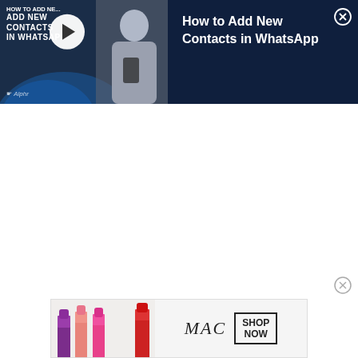[Figure (screenshot): Video thumbnail and info panel for 'How to Add New Contacts in WhatsApp'. Left side shows a dark navy thumbnail with overlaid text 'ADD NEW CONTACTS IN WHATSAPP', a white circular play button, Alphr logo, and a photo of a woman with curly hair using a phone. Right side shows navy panel with white bold text 'How to Add New Contacts in WhatsApp' and an X close button.]
[Figure (screenshot): An advertisement banner for MAC cosmetics showing several lipsticks (purple, pink, coral, red) on the left, MAC brand name in italic, and a 'SHOP NOW' box on the right. Close button (X in circle) appears above the ad.]